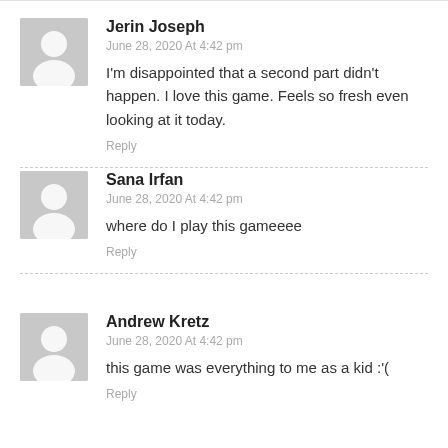Jerin Joseph
June 28, 2020 At 4:42 pm
I'm disappointed that a second part didn't happen. I love this game. Feels so fresh even looking at it today.
Reply
Sana Irfan
June 28, 2020 At 4:42 pm
where do I play this gameeee
Reply
Andrew Kretz
June 28, 2020 At 4:42 pm
this game was everything to me as a kid :'(
Reply